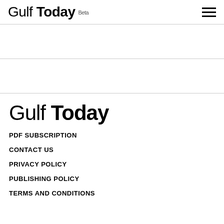Gulf Today Beta
Gulf Today
PDF SUBSCRIPTION
CONTACT US
PRIVACY POLICY
PUBLISHING POLICY
TERMS AND CONDITIONS